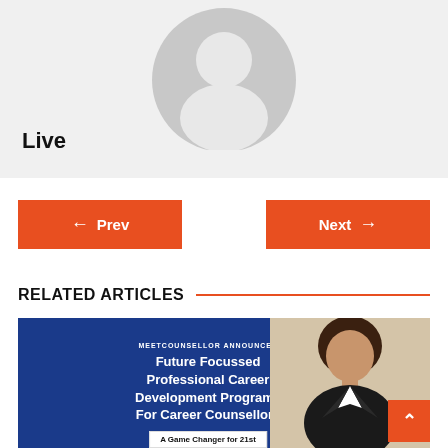[Figure (illustration): Gray placeholder avatar/profile icon circle on light gray background]
Live
← Prev
Next →
RELATED ARTICLES
[Figure (photo): Banner image with dark blue background and text: MEETCOUNSELLOR ANNOUNCES, Future Focussed Professional Career Development Programs For Career Counsellors, A Game Changer for 21st. A woman in a business suit is shown on the right side.]